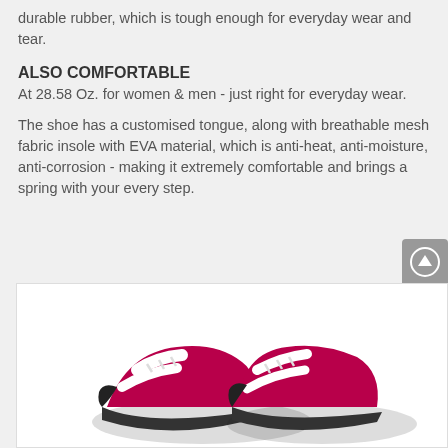durable rubber, which is tough enough for everyday wear and tear.
ALSO COMFORTABLE
At 28.58 Oz. for women & men - just right for everyday wear.
The shoe has a customised tongue, along with breathable mesh fabric insole with EVA material, which is anti-heat, anti-moisture, anti-corrosion - making it extremely comfortable and brings a spring with your every step.
[Figure (photo): Product photo of shoes (maroon/white/black athletic shoes) shown from below inside a white image container]